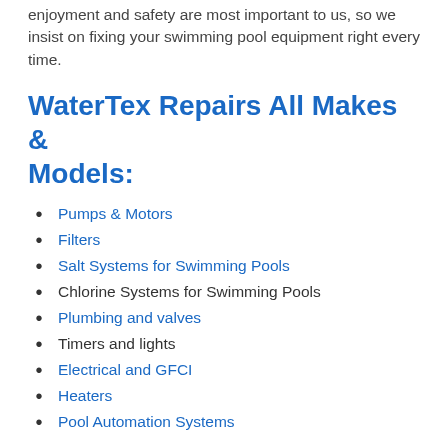enjoyment and safety are most important to us, so we insist on fixing your swimming pool equipment right every time.
WaterTex Repairs All Makes & Models:
Pumps & Motors
Filters
Salt Systems for Swimming Pools
Chlorine Systems for Swimming Pools
Plumbing and valves
Timers and lights
Electrical and GFCI
Heaters
Pool Automation Systems